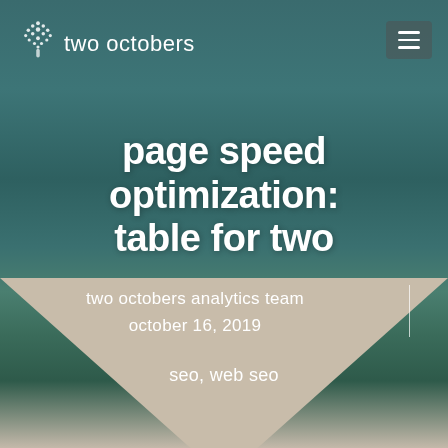[Figure (logo): Two Octobers logo with a tree made of dots above the text 'two octobers' in white on a teal background]
page speed optimization: table for two
two octobers analytics team
october 16, 2019
seo, web seo